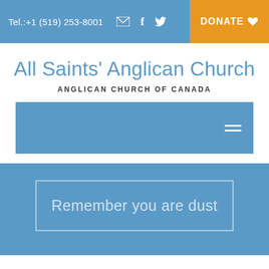Tel.:+1 (519) 253-8001  [email icon] [facebook icon] [twitter icon]  DONATE
All Saints' Anglican Church
ANGLICAN CHURCH OF CANADA
[Figure (other): Navigation bar with hamburger menu icon on blue background]
Remember you are dust